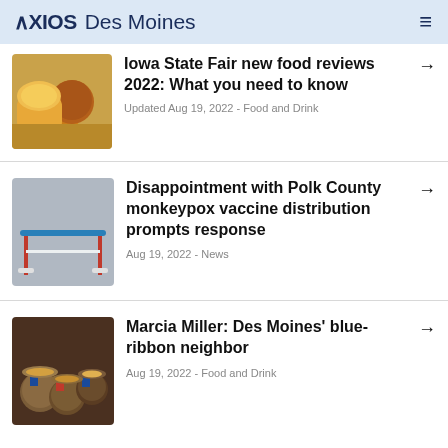AXIOS Des Moines
Iowa State Fair new food reviews 2022: What you need to know
Updated Aug 19, 2022 - Food and Drink
Disappointment with Polk County monkeypox vaccine distribution prompts response
Aug 19, 2022 - News
Marcia Miller: Des Moines' blue-ribbon neighbor
Aug 19, 2022 - Food and Drink